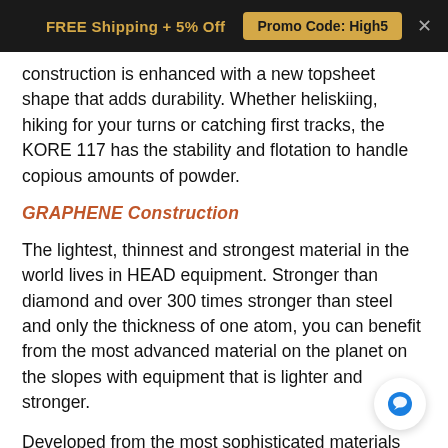FREE Shipping + 5% Off   Promo Code: High5
construction is enhanced with a new topsheet shape that adds durability. Whether heliskiing, hiking for your turns or catching first tracks, the KORE 117 has the stability and flotation to handle copious amounts of powder.
GRAPHENE Construction
The lightest, thinnest and strongest material in the world lives in HEAD equipment. Stronger than diamond and over 300 times stronger than steel and only the thickness of one atom, you can benefit from the most advanced material on the planet on the slopes with equipment that is lighter and stronger.
Developed from the most sophisticated materials known to man: the Super Light Sandwich Construction makes up one of the world's lightest freeride skis by utilizing Graphene, two different carbonlayers, as well as replacing the surface with a